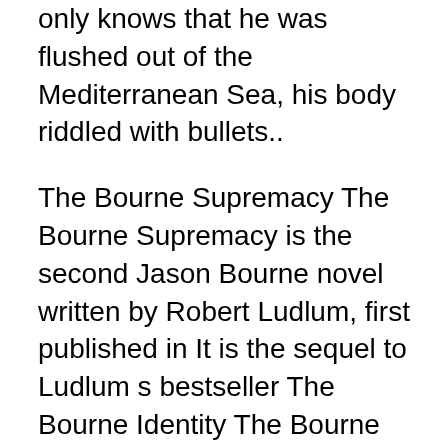only knows that he was flushed out of the Mediterranean Sea, his body riddled with bullets..
The Bourne Supremacy The Bourne Supremacy is the second Jason Bourne novel written by Robert Ludlum, first published in It is the sequel to Ludlum s bestseller The Bourne Identity The Bourne Supremacy Directed by Paul Greengrass With Matt Damon, Franka Potente, Joan Allen, Brian Cox When Jason Bourne is framed for a CIA operation gone awry, he is forced to resume The Bourne вЂ¦ 20/11/2017В В· The Bourne Identity is written by the very well known writer Robert Ludlum. This American writer is known for his